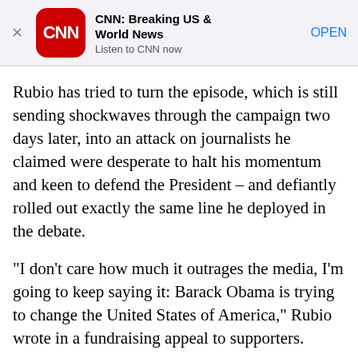[Figure (screenshot): CNN app advertisement banner with red rounded-square CNN logo, app name 'CNN: Breaking US & World News', subtitle 'Listen to CNN now', and 'OPEN' button link. Close X on left.]
Rubio has tried to turn the episode, which is still sending shockwaves through the campaign two days later, into an attack on journalists he claimed were desperate to halt his momentum and keen to defend the President – and defiantly rolled out exactly the same line he deployed in the debate.
“I don’t care how much it outrages the media, I’m going to keep saying it: Barack Obama is trying to change the United States of America,” Rubio wrote in a fundraising appeal to supporters.
[Figure (screenshot): CNN related article box with CNN logo in red, 'RELATED' label in red, chevron on right, and headline: 'Where’s J.D.?:' Vance’s Ohio Senate campaign...]